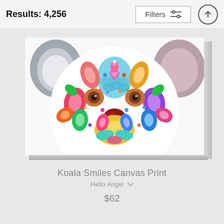Results: 4,256
[Figure (screenshot): Filters button with sliders icon in a rectangular border]
[Figure (photo): Colorful mandala-style koala face canvas print product image shown at an angle with canvas side visible]
Koala Smiles Canvas Print
Hello Angel ∨
$62